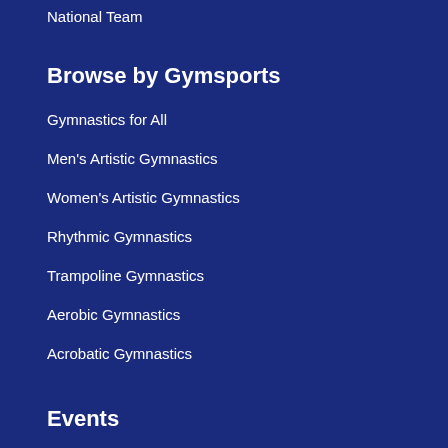National Team
Browse by Gymsports
Gymnastics for All
Men's Artistic Gymnastics
Women's Artistic Gymnastics
Rhythmic Gymnastics
Trampoline Gymnastics
Aerobic Gymnastics
Acrobatic Gymnastics
Events
2022 Australian Gymnastics Championships
Browse by Member Type